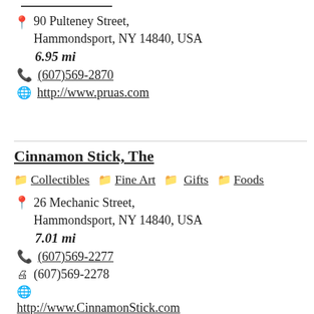90 Pulteney Street, Hammondsport, NY 14840, USA  6.95 mi  (607)569-2870  http://www.pruas.com
Cinnamon Stick, The
Collectibles  Fine Art  Gifts  Foods
26 Mechanic Street, Hammondsport, NY 14840, USA  7.01 mi  (607)569-2277  (607)569-2278  http://www.CinnamonStick.com